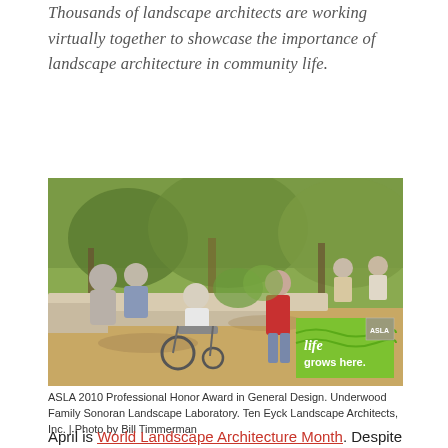Thousands of landscape architects are working virtually together to showcase the importance of landscape architecture in community life.
[Figure (photo): People socializing in an outdoor landscape space with seating walls, native plantings, and trees. One person is in a wheelchair. A green 'life grows here.' ASLA badge is overlaid in the lower right corner.]
ASLA 2010 Professional Honor Award in General Design. Underwood Family Sonoran Landscape Laboratory. Ten Eyck Landscape Architects, Inc. | Photo by Bill Timmerman
April is World Landscape Architecture Month. Despite the pandemic keeping millions of people indoors, landscape